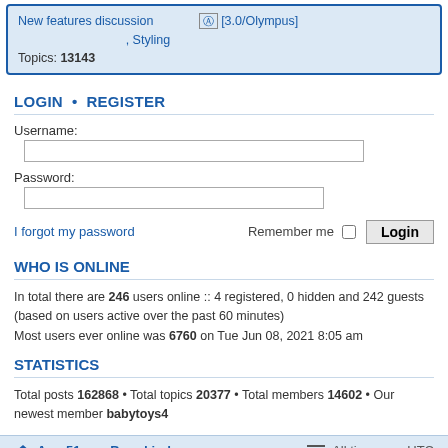New features discussion , [3.0/Olympus] , Styling
Topics: 13143
LOGIN • REGISTER
Username:
Password:
I forgot my password   Remember me  Login
WHO IS ONLINE
In total there are 246 users online :: 4 registered, 0 hidden and 242 guests (based on users active over the past 60 minutes)
Most users ever online was 6760 on Tue Jun 08, 2021 8:05 am
STATISTICS
Total posts 162868 • Total topics 20377 • Total members 14602 • Our newest member babytoys4
Area51 < Board index   All times are UTC
Powered by phpBB® Forum Software © phpBB Limited
Privacy | Terms